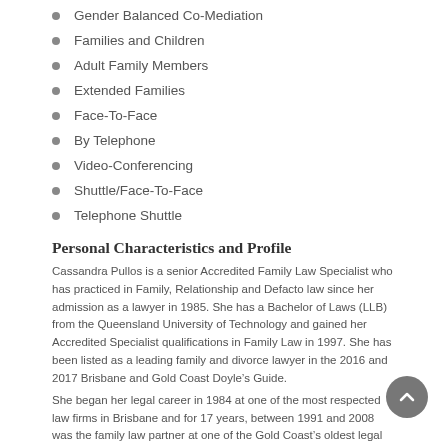Gender Balanced Co-Mediation
Families and Children
Adult Family Members
Extended Families
Face-To-Face
By Telephone
Video-Conferencing
Shuttle/Face-To-Face
Telephone Shuttle
Personal Characteristics and Profile
Cassandra Pullos is a senior Accredited Family Law Specialist who has practiced in Family, Relationship and Defacto law since her admission as a lawyer in 1985. She has a Bachelor of Laws (LLB) from the Queensland University of Technology and gained her Accredited Specialist qualifications in Family Law in 1997. She has been listed as a leading family and divorce lawyer in the 2016 and 2017 Brisbane and Gold Coast Doyle’s Guide.
She began her legal career in 1984 at one of the most respected law firms in Brisbane and for 17 years, between 1991 and 2008 was the family law partner at one of the Gold Coast’s oldest legal firms.